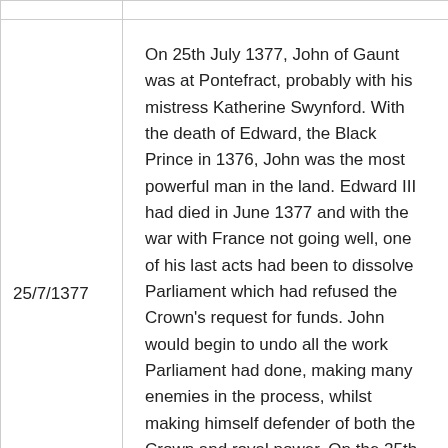| Date | Description |
| --- | --- |
|  |  |
| 25/7/1377 | On 25th July 1377, John of Gaunt was at Pontefract, probably with his mistress Katherine Swynford. With the death of Edward, the Black Prince in 1376, John was the most powerful man in the land. Edward III had died in June 1377 and with the war with France not going well, one of his last acts had been to dissolve Parliament which had refused the Crown's request for funds. John would begin to undo all the work Parliament had done, making many enemies in the process, whilst making himself defender of both the Crown and royal power. On the 25th July, he granted Katherine the wardship and marriage of the heiress of Bertram de Sauneby in recognition of |